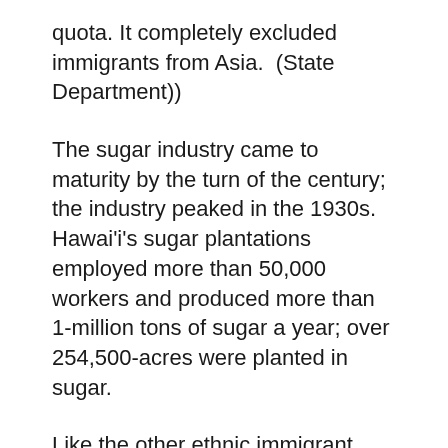quota. It completely excluded immigrants from Asia.  (State Department))
The sugar industry came to maturity by the turn of the century; the industry peaked in the 1930s. Hawai'i's sugar plantations employed more than 50,000 workers and produced more than 1-million tons of sugar a year; over 254,500-acres were planted in sugar.
Like the other ethnic immigrant groups, the Issei worked on sugar and pineapple plantations. The children of the Issei were the Nisei, the second generation in Hawai'i.  They are the first generation of Japanese descent to be born and receive their entire education in America, learning Western values and holding US